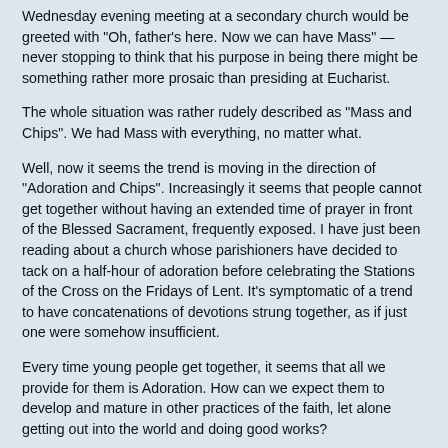Wednesday evening meeting at a secondary church would be greeted with "Oh, father's here. Now we can have Mass" — never stopping to think that his purpose in being there might be something rather more prosaic than presiding at Eucharist.
The whole situation was rather rudely described as "Mass and Chips". We had Mass with everything, no matter what.
Well, now it seems the trend is moving in the direction of "Adoration and Chips". Increasingly it seems that people cannot get together without having an extended time of prayer in front of the Blessed Sacrament, frequently exposed. I have just been reading about a church whose parishioners have decided to tack on a half-hour of adoration before celebrating the Stations of the Cross on the Fridays of Lent. It's symptomatic of a trend to have concatenations of devotions strung together, as if just one were somehow insufficient.
Every time young people get together, it seems that all we provide for them is Adoration. How can we expect them to develop and mature in other practices of the faith, let alone getting out into the world and doing good works?
The number of churches where they now have "perpetual adoration" — effectively preventing the church from being used for other practical purposes, even cleaning, not to mention music practices and organ tuning